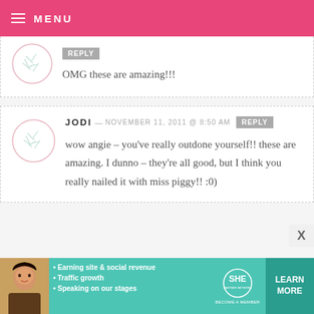MENU
OMG these are amazing!!!
JODI — NOVEMBER 11, 2011 @ 8:50 AM
wow angie – you've really outdone yourself!! these are amazing. I dunno – they're all good, but I think you really nailed it with miss piggy!! :0)
[Figure (infographic): SHE Partner Network advertisement banner with woman photo, bullet points about earning site & social revenue, traffic growth, speaking on our stages, and a Learn More button]